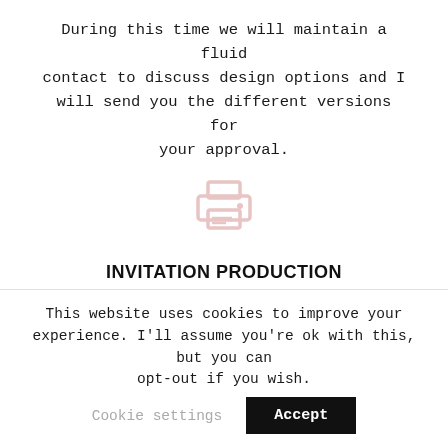During this time we will maintain a fluid contact to discuss design options and I will send you the different versions for your approval.
[Figure (illustration): A light pink/rose colored printer icon (outline style)]
INVITATION PRODUCTION
With your approval of all the materials, I will proceed with the handmade production process of your stationery. The whole production process, once
This website uses cookies to improve your experience. I'll assume you're ok with this, but you can opt-out if you wish.  Cookie settings  Accept